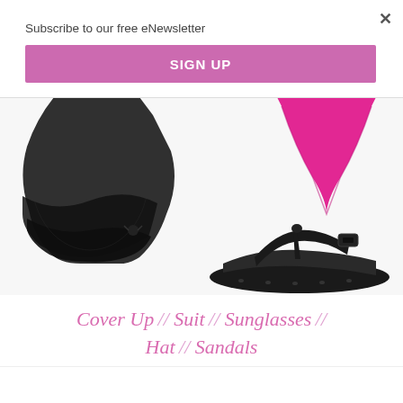Subscribe to our free eNewsletter
SIGN UP
[Figure (photo): Black ruffled cover-up skirt and pink bikini bottom product photos, plus black Birkenstock-style sandal]
Cover Up // Suit // Sunglasses // Hat // Sandals